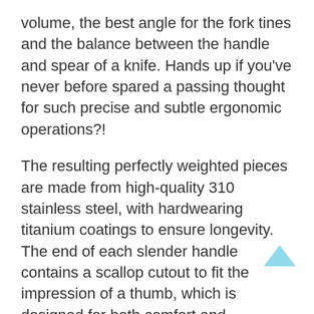volume, the best angle for the fork tines and the balance between the handle and spear of a knife. Hands up if you've never before spared a passing thought for such precise and subtle ergonomic operations?!
The resulting perfectly weighted pieces are made from high-quality 310 stainless steel, with hardwearing titanium coatings to ensure longevity. The end of each slender handle contains a scallop cutout to fit the impression of a thumb, which is designed for both comfort and leverage.
Each 24-piece set contains six knives, forks, dessert spoons and teaspoons, and is available in matte black, polished silver, and brushed silver or gold. To complete the culinary circle, this month Krof is donating ten meals through Foodbank for every cutlery set sold.